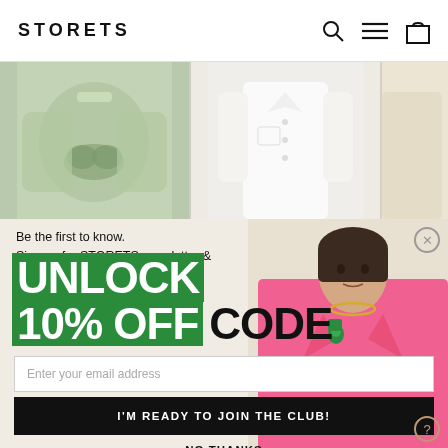STORETS
[Figure (photo): Three fashion product images side by side: green knotted cardigan on left, white button-up shirt in center, and partial warm-toned item on right]
Be the first to know.
Sign up for STORETS newsletter &
UNLOCK 10% OFF CODE
[Figure (photo): Female model wearing pink blazer suit with gold chain necklace and green floral brooch, short dark hair]
Enter your email address
I'M READY TO JOIN THE CLUB!
NO THANKS